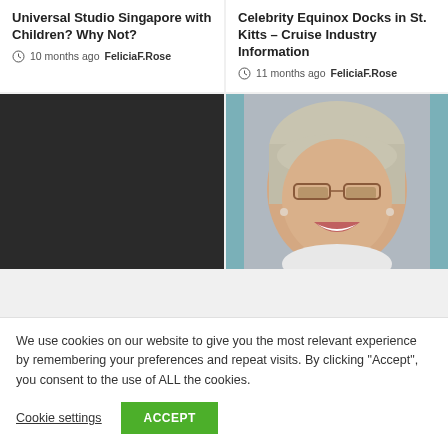Universal Studio Singapore with Children? Why Not?
10 months ago  FeliciaF.Rose
Celebrity Equinox Docks in St. Kitts – Cruise Industry Information
11 months ago  FeliciaF.Rose
[Figure (photo): Dark/black placeholder image]
[Figure (photo): Portrait photo of a smiling middle-aged woman with short grey hair and glasses]
We use cookies on our website to give you the most relevant experience by remembering your preferences and repeat visits. By clicking “Accept”, you consent to the use of ALL the cookies.
Cookie settings  ACCEPT